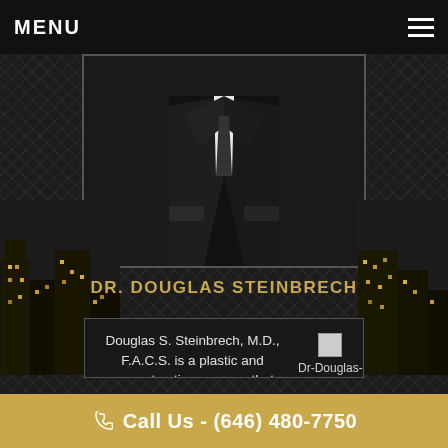MENU
[Figure (photo): Photo of Dr. Douglas Steinbrech in a dark suit, showing torso/body from chest down, against dark background]
DR. DOUGLAS STEINBRECH
Douglas S. Steinbrech, M.D., F.A.C.S. is a plastic and reconstructive surgeon that specializes in male aesthetics. Dr
[Figure (photo): Dr-Douglas-Steinbrech image placeholder]
Call Us - (646) 480-7750